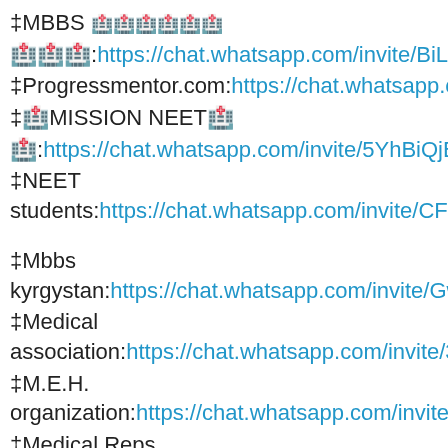‡MBBS 🏥🏥🏥🏥🏥🏥
🏥🏥🏥:https://chat.whatsapp.com/invite/BiLm8G9p4OgCfALhjWT
‡Progressmentor.com:https://chat.whatsapp.com/invite/3zfbk
‡🏥MISSION NEET🏥
🏥:https://chat.whatsapp.com/invite/5YhBiQjBeFB6zOjh6qY5k
‡NEET students:https://chat.whatsapp.com/invite/CFLNay6CwzsHJF
‡Mbbs kyrgystan:https://chat.whatsapp.com/invite/GwXDZbii7Px7ph
‡Medical association:https://chat.whatsapp.com/invite/3xJ3v9Scq1WK
‡M.E.H. organization:https://chat.whatsapp.com/invite/2I3NCORPlaUl
‡Medical Reps Vacancy:https://chat.whatsapp.com/invite/EJvKG08oAyi3MC